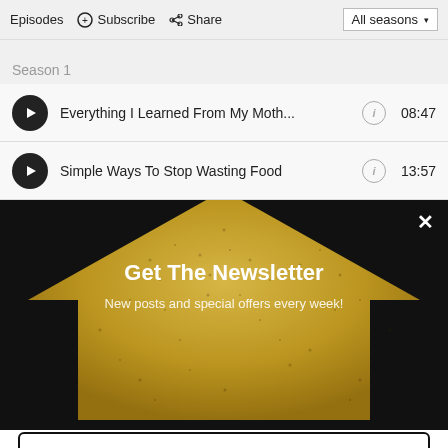Episodes  ⊕ Subscribe  Share  All seasons ▾
Season 1
Everything I Learned From My Moth...  08:47
Simple Ways To Stop Wasting Food  13:57
[Figure (screenshot): Newsletter popup modal with black background, gold arrow/house graphic, white text 'Get The Newsletter' and subtitle 'New posts and special offers every week!', email input field, opt-in checkbox, and Subscribe button]
Get The Newsletter
New posts and special offers every week!
Email
Opt in to receive news and updates.
SUBSCRIBE